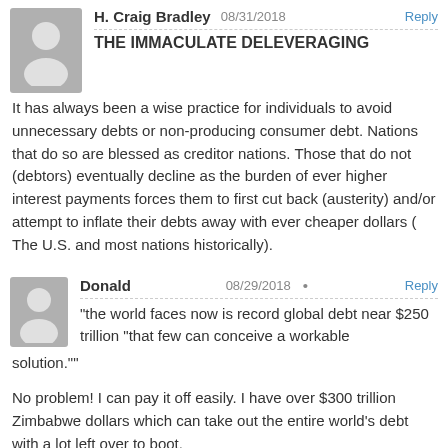H. Craig Bradley  08/31/2018  Reply
THE IMMACULATE DELEVERAGING
It has always been a wise practice for individuals to avoid unnecessary debts or non-producing consumer debt. Nations that do so are blessed as creditor nations. Those that do not (debtors) eventually decline as the burden of ever higher interest payments forces them to first cut back (austerity) and/or attempt to inflate their debts away with ever cheaper dollars ( The U.S. and most nations historically).
Donald  08/29/2018  Reply
“the world faces now is record global debt near $250 trillion “that few can conceive a workable solution.””
No problem! I can pay it off easily. I have over $300 trillion Zimbabwe dollars which can take out the entire world’s debt with a lot left over to boot.